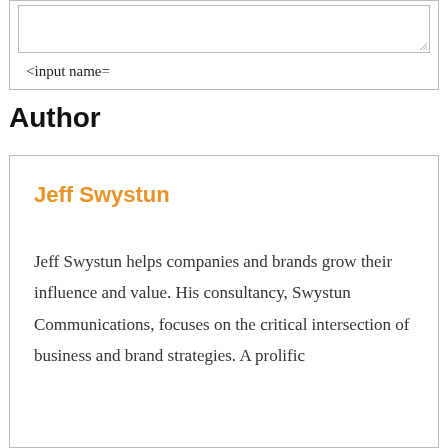[Figure (other): A bordered box containing a textarea input field with a resize handle at bottom right, and a text label reading '<input name=' below it]
<input name=
Author
Jeff Swystun
Jeff Swystun helps companies and brands grow their influence and value. His consultancy, Swystun Communications, focuses on the critical intersection of business and brand strategies. A prolific